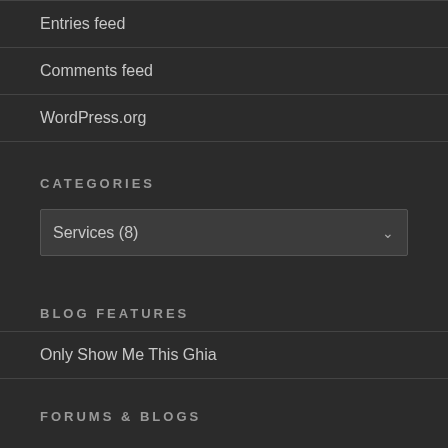Entries feed
Comments feed
WordPress.org
CATEGORIES
Services (8)
BLOG FEATURES
Only Show Me This Ghia
FORUMS & BLOGS